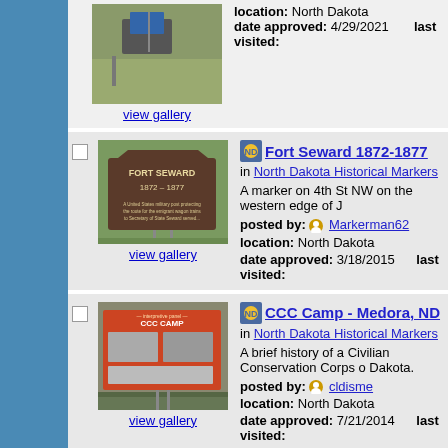[Figure (photo): Top partial entry: photo of a marker/sign in a field with solar panel]
location: North Dakota
date approved: 4/29/2021   last visited:
view gallery
Fort Seward 1872-1877
in North Dakota Historical Markers
A marker on 4th St NW on the western edge of J
posted by: Markerman62
location: North Dakota
date approved: 3/18/2015   last visited:
[Figure (photo): Photo of Fort Seward 1872-1877 brown historical marker sign]
view gallery
CCC Camp - Medora, ND
in North Dakota Historical Markers
A brief history of a Civilian Conservation Corps o Dakota.
posted by: cldisme
location: North Dakota
date approved: 7/21/2014   last visited:
[Figure (photo): Photo of CCC Camp interpretive sign/panel at Medora ND]
view gallery